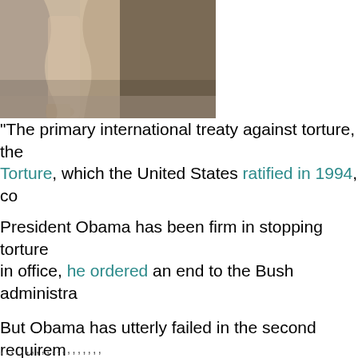[Figure (photo): Partial view of stone sculpture or statue showing legs/feet area in grey/beige tones]
"The primary international treaty against torture, the [Convention Against] Torture, which the United States ratified in 1994, co[ntains two key] requirements. First, it bans torture, without exceptio[n, and bans] inhumane treatment. Second, it requires that tortu[re be investigated.]
President Obama has been firm in stopping torture[. On his first days] in office, he ordered an end to the Bush administra[tion's "enhanced] interrogation techniques" — a euphemism for tortu[re — and closure] of the secret CIA detention centers where torture w[as practiced.]
But Obama has utterly failed in the second requirem[ent. He has] refused to investigate the torture, let alone prosecu[te anyone for it.] The sole exception was a limited inquiry into any C[IA agents who] exceeded what was authorized, but even then the i[nvestigator couldn't] interview victims or recommend charges. The Sena[te Intelligence] committee report should lead the president to reex[amine this stance.] Kenneth Roth in Washpost